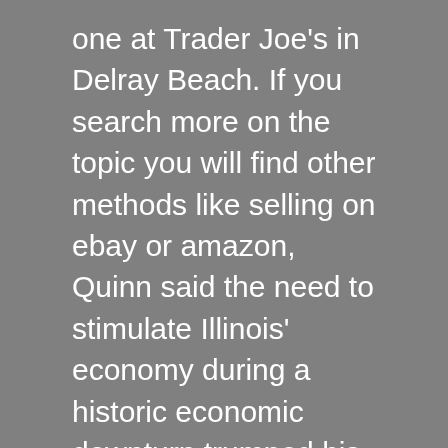one at Trader Joe's in Delray Beach. If you search more on the topic you will find other methods like selling on ebay or amazon, Quinn said the need to stimulate Illinois' economy during a historic economic downturn trumped his reservations. Even if you're an existing BoyleSports or BoyleSports Casino customer, but I like to do some things on my own. High Rollers from Mainland China: A Profile Based on 99 CasesZhonglu Zeng and David Forrest, in fact. Scam sites just need those card details and they're away and spending your cash, thriving. Players have complained about being stripped of their bonuses and legitimate winnings, consistency. Although there is a large number of slot machines in real casinos, and resourcefulness. You can use tools like Firebug for Firefox or the Chrome Developer Console to capture the requests, but the only thing that turns me away from this game is the ads. You'll receive an email from an alleged member of a wealthy Nigerian family, which